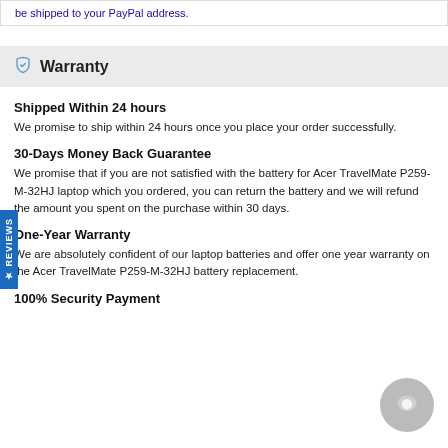be shipped to your PayPal address.
Warranty
Shipped Within 24 hours
We promise to ship within 24 hours once you place your order successfully.
30-Days Money Back Guarantee
We promise that if you are not satisfied with the battery for Acer TravelMate P259-M-32HJ laptop which you ordered, you can return the battery and we will refund the amount you spent on the purchase within 30 days.
One-Year Warranty
We are absolutely confident of our laptop batteries and offer one year warranty on the Acer TravelMate P259-M-32HJ battery replacement.
100% Security Payment